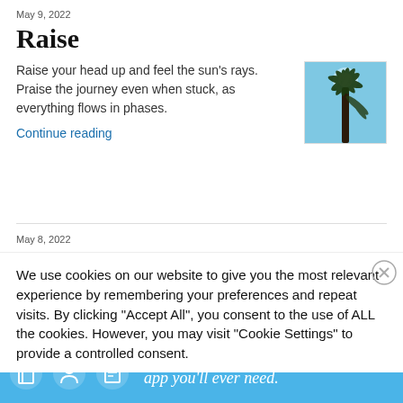May 9, 2022
Raise
Raise your head up and feel the sun's rays. Praise the journey even when stuck, as everything flows in phases.
Continue reading
[Figure (photo): Photo of a tall palm tree seen from below against a bright blue sky]
May 8, 2022
We use cookies on our website to give you the most relevant experience by remembering your preferences and repeat visits. By clicking "Accept All", you consent to the use of ALL the cookies. However, you may visit "Cookie Settings" to provide a controlled consent.
Advertisements
[Figure (infographic): DAY ONE app advertisement banner. Blue background with icons of a book, person, and notepad. Text: 'The only journaling app you'll ever need.']